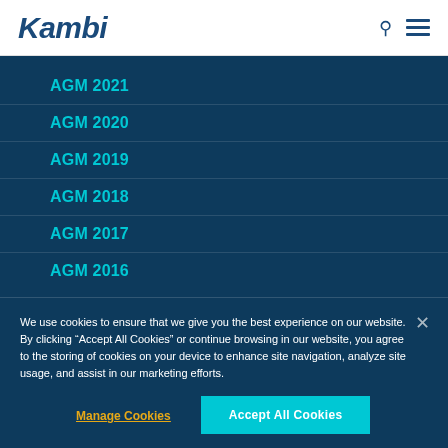Kambi
AGM 2021
AGM 2020
AGM 2019
AGM 2018
AGM 2017
AGM 2016
We use cookies to ensure that we give you the best experience on our website. By clicking “Accept All Cookies” or continue browsing in our website, you agree to the storing of cookies on your device to enhance site navigation, analyze site usage, and assist in our marketing efforts.
Manage Cookies
Accept All Cookies